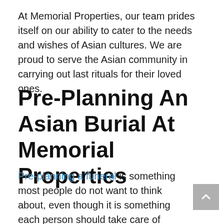At Memorial Properties, our team prides itself on our ability to cater to the needs and wishes of Asian cultures. We are proud to serve the Asian community in carrying out last rituals for their loved ones.
Pre-Planning An Asian Burial At Memorial Properties
Pre-planning a funeral is something most people do not want to think about, even though it is something each person should take care of before they pass. When pre-planning an Asian burial, you will meet with a death care professional to discuss your exact wishes. This